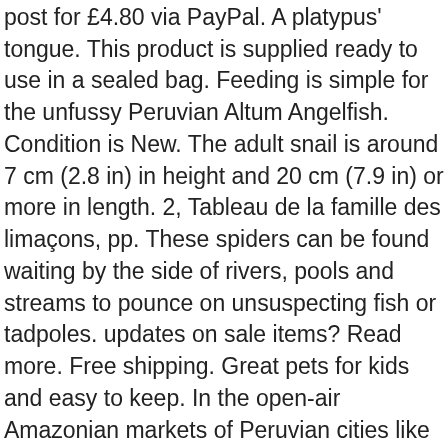post for £4.80 via PayPal. A platypus' tongue. This product is supplied ready to use in a sealed bag. Feeding is simple for the unfussy Peruvian Altum Angelfish. Condition is New. The adult snail is around 7 cm (2.8 in) in height and 20 cm (7.9 in) or more in length. 2, Tableau de la famille des limaçons, pp. These spiders can be found waiting by the side of rivers, pools and streams to pounce on unsuspecting fish or tadpoles. updates on sale items? Read more. Free shipping. Great pets for kids and easy to keep. In the open-air Amazonian markets of Peruvian cities like Yurimaguas and Iquitos, it's not unusual to see large containers full of giant aquatic snails. Vietnamese Walking Stick Insect. The giant African snail is native to East Africa, and can be traced back to Kenya and Tanzania. GIANT RAMSHORN SNAIL. £3.19. This species is also known as Triton's Trumpet, named for the son (Triton) of the Greek god of the sea (Poseidon) and the fact that the shell can be used to make trumpet-like sounds. [8] The snail has also been established on Pratas Island, of Taiwan,[9] throughout